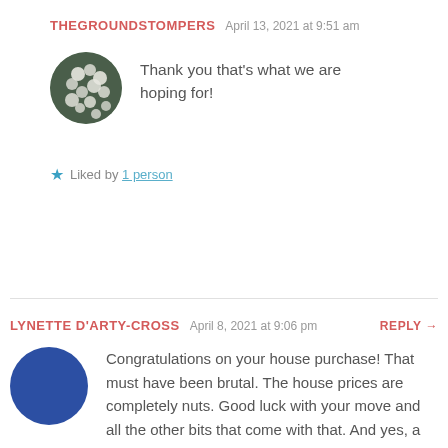THEGROUNDSTOMPERS   April 13, 2021 at 9:51 am
[Figure (photo): Round avatar photo showing white flowers on dark green plant]
Thank you that's what we are hoping for!
★ Liked by 1 person
LYNETTE D'ARTY-CROSS   April 8, 2021 at 9:06 pm   REPLY →
[Figure (illustration): Round solid blue avatar circle]
Congratulations on your house purchase! That must have been brutal. The house prices are completely nuts. Good luck with your move and all the other bits that come with that. And yes, a nice hike to get your bearings back. I am quite familiar with the Shelburne area but haven't